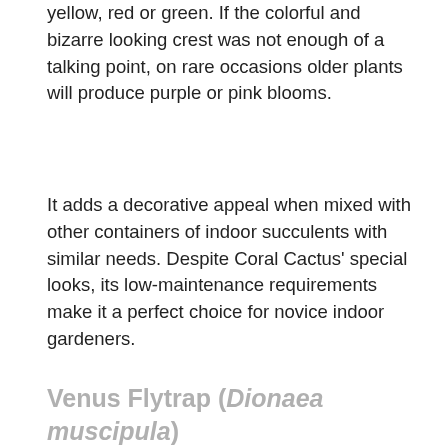yellow, red or green. If the colorful and bizarre looking crest was not enough of a talking point, on rare occasions older plants will produce purple or pink blooms.
It adds a decorative appeal when mixed with other containers of indoor succulents with similar needs. Despite Coral Cactus' special looks, its low-maintenance requirements make it a perfect choice for novice indoor gardeners.
Venus Flytrap (Dionaea muscipula)